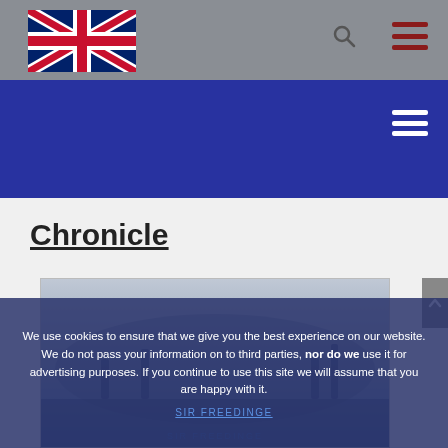[Figure (logo): UK Union Jack flag logo in the top-left header area]
Navigation header with search icon and hamburger menu
[Figure (screenshot): Blue navigation bar with hamburger menu icon on the right]
Chronicle
[Figure (illustration): Historical scene illustration with blue tint, showing figures in a dramatic scene. Text at bottom reads 'SIR FREEDINGE']
We use cookies to ensure that we give you the best experience on our website. We do not pass your information on to third parties, nor do we use it for advertising purposes. If you continue to use this site we will assume that you are happy with it.
SIR FREEDINGE